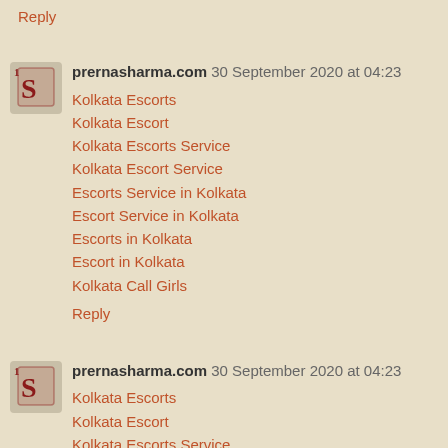Reply
prernasharma.com 30 September 2020 at 04:23
Kolkata Escorts
Kolkata Escort
Kolkata Escorts Service
Kolkata Escort Service
Escorts Service in Kolkata
Escort Service in Kolkata
Escorts in Kolkata
Escort in Kolkata
Kolkata Call Girls
Reply
prernasharma.com 30 September 2020 at 04:23
Kolkata Escorts
Kolkata Escort
Kolkata Escorts Service
Kolkata Escort Service